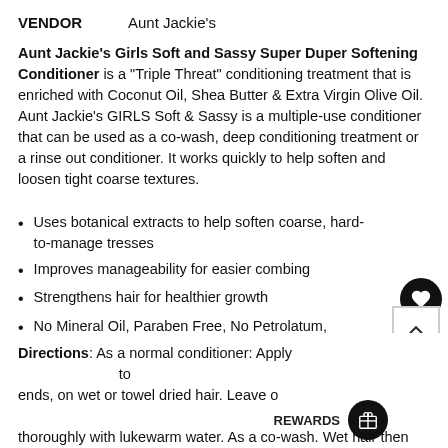VENDOR    Aunt Jackie's
Aunt Jackie's Girls Soft and Sassy Super Duper Softening Conditioner is a "Triple Threat" conditioning treatment that is enriched with Coconut Oil, Shea Butter & Extra Virgin Olive Oil. Aunt Jackie's GIRLS Soft & Sassy is a multiple-use conditioner that can be used as a co-wash, deep conditioning treatment or a rinse out conditioner. It works quickly to help soften and loosen tight coarse textures.
Uses botanical extracts to help soften coarse, hard-to-manage tresses
Improves manageability for easier combing
Strengthens hair for healthier growth
No Mineral Oil, Paraben Free, No Petrolatum, Sulfate-Free
Directions: As a normal conditioner: Apply generously to ends, on wet or towel dried hair. Leave on. Rinse thoroughly with lukewarm water. As a co-wash. Wet hair then